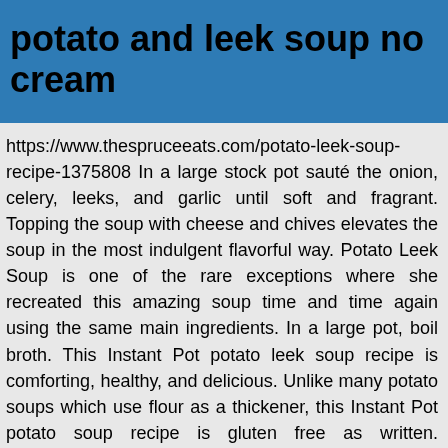potato and leek soup no cream
https://www.thespruceeats.com/potato-leek-soup-recipe-1375808 In a large stock pot sauté the onion, celery, leeks, and garlic until soft and fragrant. Topping the soup with cheese and chives elevates the soup in the most indulgent flavorful way. Potato Leek Soup is one of the rare exceptions where she recreated this amazing soup time and time again using the same main ingredients. In a large pot, boil broth. This Instant Pot potato leek soup recipe is comforting, healthy, and delicious. Unlike many potato soups which use flour as a thickener, this Instant Pot potato soup recipe is gluten free as written. https://www.mygorgeousrecipes.com/chunky-leek-and-potato-soup Half the leeks lengthwise, and soak in water to clean. Heat the olive oil in a saucepan; add leeks and saute over low heat for